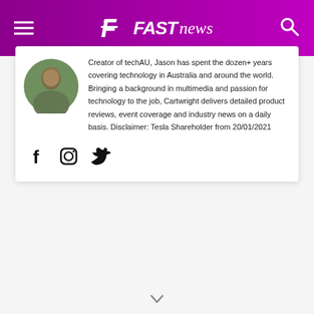FAST news
[Figure (photo): Circular avatar photo of a person (Jason Cartwright) outdoors]
Creator of techAU, Jason has spent the dozen+ years covering technology in Australia and around the world. Bringing a background in multimedia and passion for technology to the job, Cartwright delivers detailed product reviews, event coverage and industry news on a daily basis. Disclaimer: Tesla Shareholder from 20/01/2021
[Figure (other): Social media icons: Facebook, Instagram, Twitter]